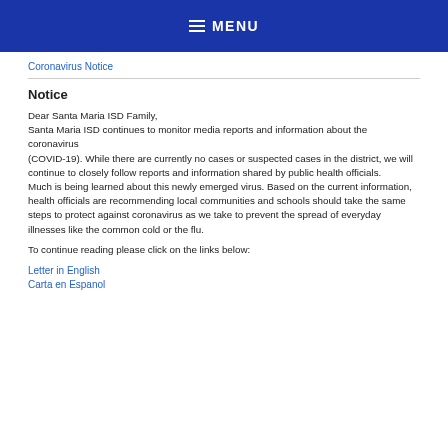≡ MENU
Coronavirus Notice
Notice
Dear Santa Maria ISD Family,
Santa Maria ISD continues to monitor media reports and information about the coronavirus (COVID-19). While there are currently no cases or suspected cases in the district, we will continue to closely follow reports and information shared by public health officials.
Much is being learned about this newly emerged virus. Based on the current information, health officials are recommending local communities and schools should take the same steps to protect against coronavirus as we take to prevent the spread of everyday illnesses like the common cold or the flu.
To continue reading please click on the links below:
Letter in English
Carta en Espanol